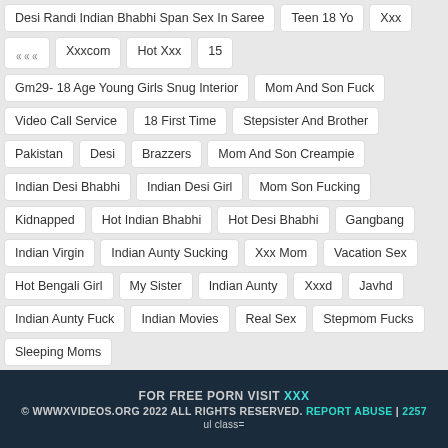Desi Randi Indian Bhabhi Span Sex In Saree
Teen 18 Yo
Xxx
Hindi
Xxxcom
Hot Xxx
15
Gm29- 18 Age Young Girls Snug Interior
Mom And Son Fuck
Video Call Service
18 First Time
Stepsister And Brother
Pakistan
Desi
Brazzers
Mom And Son Creampie
Indian Desi Bhabhi
Indian Desi Girl
Mom Son Fucking
Kidnapped
Hot Indian Bhabhi
Hot Desi Bhabhi
Gangbang
Indian Virgin
Indian Aunty Sucking
Xxx Mom
Vacation Sex
Hot Bengali Girl
My Sister
Indian Aunty
Xxxd
Javhd
Indian Aunty Fuck
Indian Movies
Real Sex
Stepmom Fucks
Sleeping Moms
FOR FREE PORN VISIT XXX
© WWWXVIDEOS.ORG 2022 ALL RIGHTS RESERVED. REPORT ABUSE | 2257
ul class=